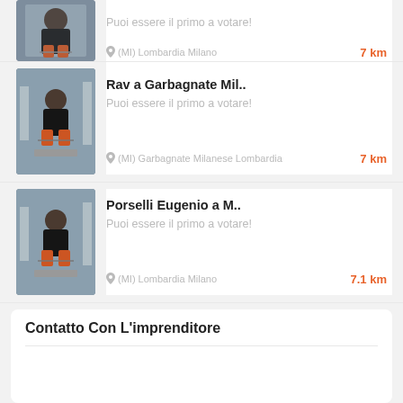[Figure (photo): Athlete tying shoe laces, partial card at top]
Puoi essere il primo a votare!
(MI) Lombardia Milano   7 km
Rav a Garbagnate Mil..
[Figure (photo): Athlete tying shoe laces on street]
Puoi essere il primo a votare!
(MI) Garbagnate Milanese Lombardia   7 km
Porselli Eugenio a M..
[Figure (photo): Athlete tying shoe laces on street]
Puoi essere il primo a votare!
(MI) Lombardia Milano   7.1 km
Contatto Con L'imprenditore